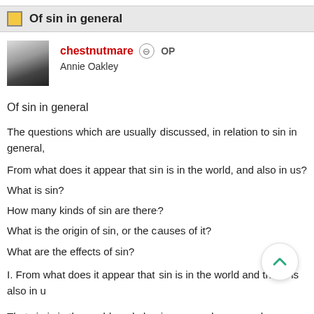Of sin in general
chestnutmare  ⊖  OP
Annie Oakley
Of sin in general
The questions which are usually discussed, in relation to sin in general,
From what does it appear that sin is in the world, and also in us?
What is sin?
How many kinds of sin are there?
What is the origin of sin, or the causes of it?
What are the effects of sin?
I. From what does it appear that sin is in the world and that it is also in u
That sin is in the world, and also in us, may be proven by a variety of ar
sin, which declaration ought especially to be believed, in as much as Go